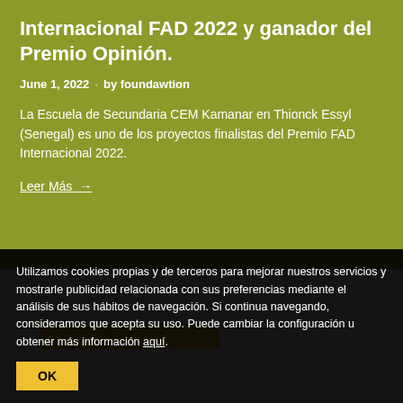Internacional FAD 2022 y ganador del Premio Opinión.
June 1, 2022 · by foundawtion
La Escuela de Secundaria CEM Kamanar en Thionck Essyl (Senegal) es uno de los proyectos finalistas del Premio FAD Internacional 2022.
Leer Más →
Utilizamos cookies propias y de terceros para mejorar nuestros servicios y mostrarle publicidad relacionada con sus preferencias mediante el análisis de sus hábitos de navegación. Si continua navegando, consideramos que acepta su uso. Puede cambiar la configuración u obtener más información aquí.
OK